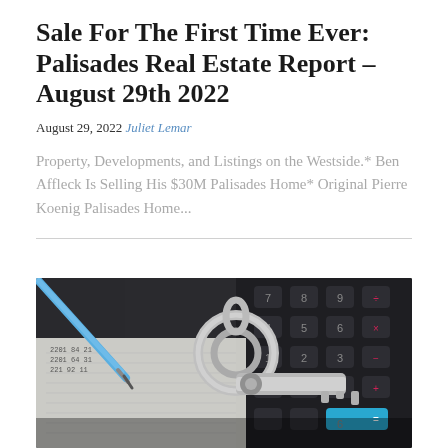Sale For The First Time Ever: Palisades Real Estate Report – August 29th 2022
August 29, 2022 Juliet Lemar
Property, Developments, and Listings on the Westside.* Ben Affleck Is Selling His $30M Palisades Home* Original Pierre Koenig Palisades Home...
[Figure (photo): Close-up photo of a house key on a keyring resting on a calculator, with a pen and financial documents in the background. Blue and dark tones.]